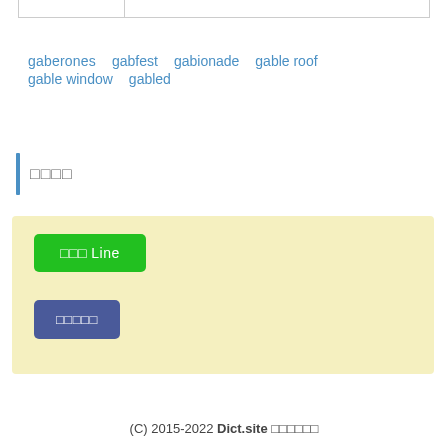gaberones  gabfest  gabionade  gable roof  gable window  gabled
□□□□
[Figure (other): Yellow box containing a green button labelled '□□□ Line' and a blue button labelled '□□□□□']
(C) 2015-2022 Dict.site □□□□□□